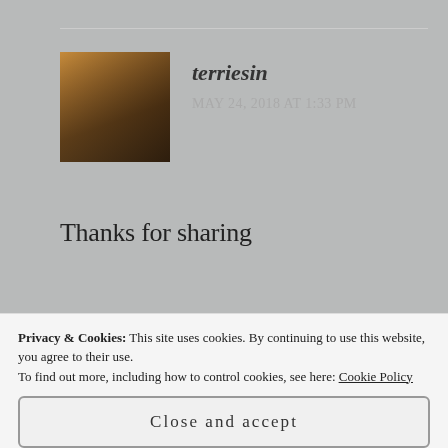[Figure (photo): User avatar photo of terriesin — a person in a dark setting with warm lighting]
terriesin
MAY 24, 2018 AT 1:33 PM
Thanks for sharing
★ Like
Reply
Privacy & Cookies: This site uses cookies. By continuing to use this website, you agree to their use. To find out more, including how to control cookies, see here: Cookie Policy
Close and accept